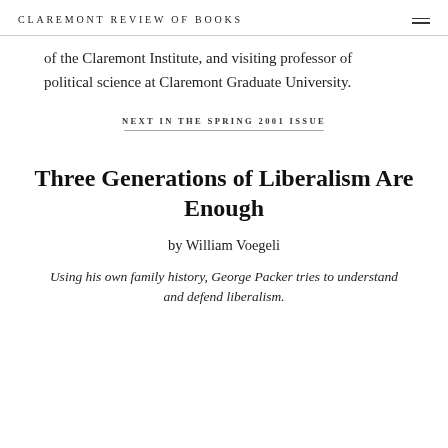CLAREMONT REVIEW OF BOOKS
of the Claremont Institute, and visiting professor of political science at Claremont Graduate University.
NEXT IN THE SPRING 2001 ISSUE
Three Generations of Liberalism Are Enough
by William Voegeli
Using his own family history, George Packer tries to understand and defend liberalism.